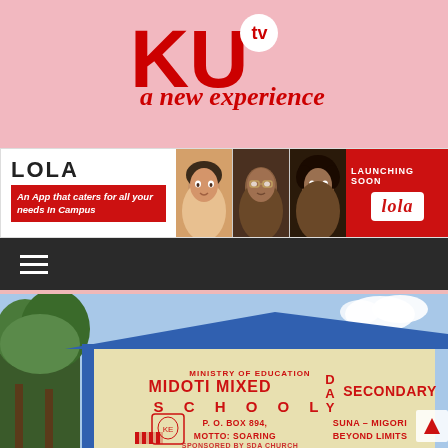[Figure (logo): KU TV logo with red KU letters, white circular TV badge, and red italic tagline 'a new experience' on pink background]
[Figure (infographic): LOLA app promotional banner with three people photos, red background right side, 'LAUNCHING SOON' text, lola logo. Red sub-banner: 'An App that caters for all your needs in Campus']
[Figure (photo): Photograph of Midoti Mixed Day Secondary School sign on a cream-colored building with blue roof. Text reads: MINISTRY OF EDUCATION, MIDOTI MIXED DAY SECONDARY SCHOOL, P.O. BOX 894, SUNA-MIGORI, MOTTO: SOARING BEYOND LIMITS, SPONSORED BY SDA CHURCH]